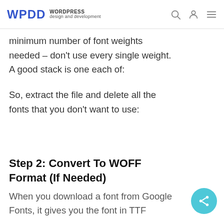WPDD WORDPRESS design and development
minimum number of font weights needed – don't use every single weight. A good stack is one each of:
So, extract the file and delete all the fonts that you don't want to use:
Step 2: Convert To WOFF Format (If Needed)
When you download a font from Google Fonts, it gives you the font in TTF